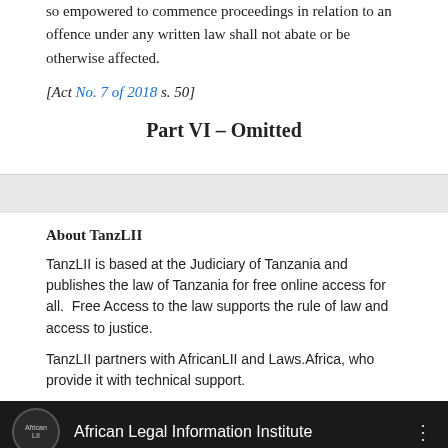so empowered to commence proceedings in relation to an offence under any written law shall not abate or be otherwise affected.
[Act No. 7 of 2018 s. 50]
Part VI – Omitted
About TanzLII
TanzLII is based at the Judiciary of Tanzania and publishes the law of Tanzania for free online access for all.  Free Access to the law supports the rule of law and access to justice.
TanzLII partners with AfricanLII and Laws.Africa, who provide it with technical support.
[Figure (screenshot): Video thumbnail showing African Legal Information Institute logo and title on dark background]